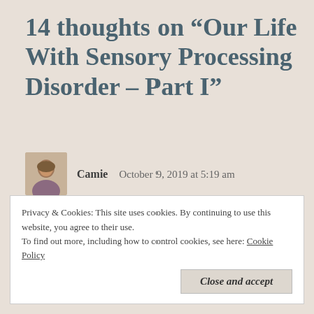14 thoughts on “Our Life With Sensory Processing Disorder – Part I”
[Figure (photo): Small avatar photo of a woman named Camie]
Camie   October 9, 2019 at 5:19 am
That is a sweet picture of him on the beach. Thanks
Privacy & Cookies: This site uses cookies. By continuing to use this website, you agree to their use.
To find out more, including how to control cookies, see here: Cookie Policy